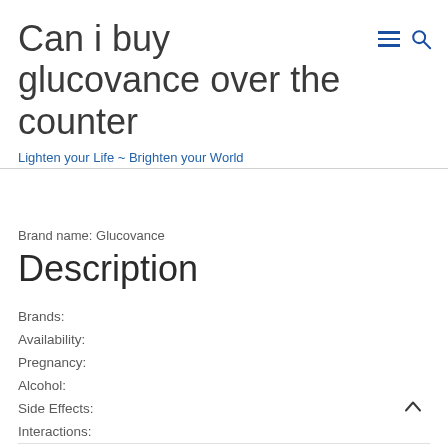Can i buy glucovance over the counter
Lighten your Life ~ Brighten your World
Brand name: Glucovance
Description
Brands:
Availability:
Pregnancy:
Alcohol:
Side Effects:
Interactions:
For information purposes only. Consult your local medical authority for advice.